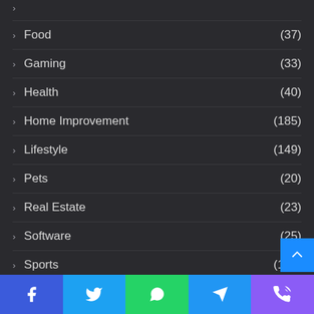Food (37)
Gaming (33)
Health (40)
Home Improvement (185)
Lifestyle (149)
Pets (20)
Real Estate (23)
Software (25)
Sports (170)
Tech (240)
Travel (64)
Uncategorized (42)